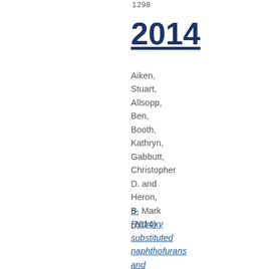1298
2014
Aiken, Stuart, Allsopp, Ben, Booth, Kathryn, Gabbutt, Christopher D. and Heron, B. Mark (2014)
5-Hydroxy substituted naphthofurans and naphthothiazols